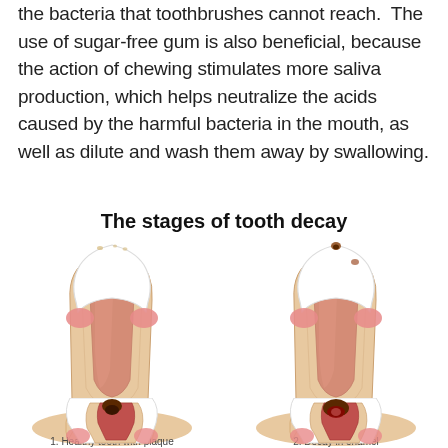the bacteria that toothbrushes cannot reach. The use of sugar-free gum is also beneficial, because the action of chewing stimulates more saliva production, which helps neutralize the acids caused by the harmful bacteria in the mouth, as well as dilute and wash them away by swallowing.
The stages of tooth decay
[Figure (illustration): Two cross-section diagrams of teeth showing stages of tooth decay. Left: '1. Healthy tooth with plaque' showing a white tooth with internal anatomy (enamel, dentin, pulp) and pink gums. Right: '2. Decay in enamel' showing a similar tooth with a cavity spot at the top and early decay in the enamel layer.]
[Figure (illustration): Two more cross-section diagrams of teeth (partially visible at bottom) showing further stages of tooth decay — advanced cavities visible in the tooth crowns.]